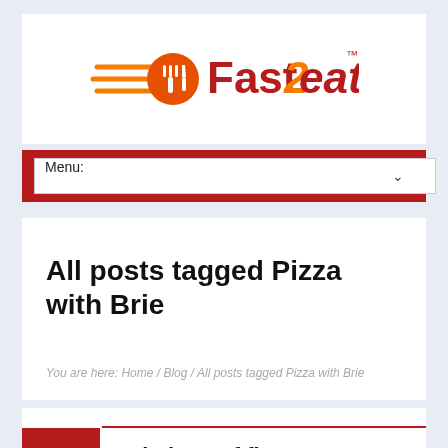[Figure (logo): Fast2eat logo with orange swoosh fork and knife icon and red/orange text reading Fast2eat with trademark symbol]
Menu:
All posts tagged Pizza with Brie
You are here: Home / Blog / All posts tagged Pizza with Brie
Variations of flavours